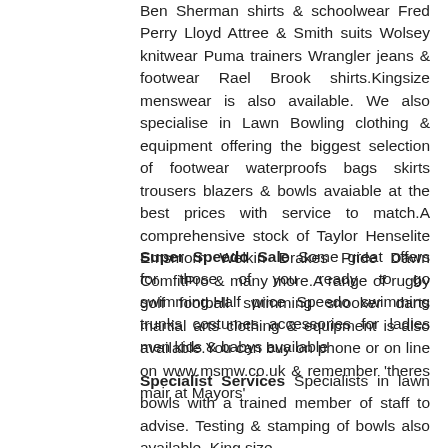Ben Sherman shirts & schoolwear Fred Perry Lloyd Attree & Smith suits Wolsey knitwear Puma trainers Wrangler jeans & footwear Rael Brook shirts.Kingsize menswear is also available. We also specialise in Lawn Bowling clothing & equipment offering the biggest selection of footwear waterproofs bags skirts trousers blazers & bowls avaiable at the best prices with service to match.A comprehensive stock of Taylor Henselite Emsmorn Welkin Drakes Pride Dawn ComfitPro & many more.A range of rugby golf football swimming snooker darts martial arts clothing & equipment is also available.You can buy on phone or on line on www.msmw.co.uk & remember 'theres mair at Mayors'
Super Speedo Sale Some great offers for those of you ready to go swimming.Half price Speedo swimming trunks costumes accessories for ladies men kids & babys available
Specialist Services Specialists in lawn bowls with a trained member of staff to advise. Testing & stamping of bowls also available. King size